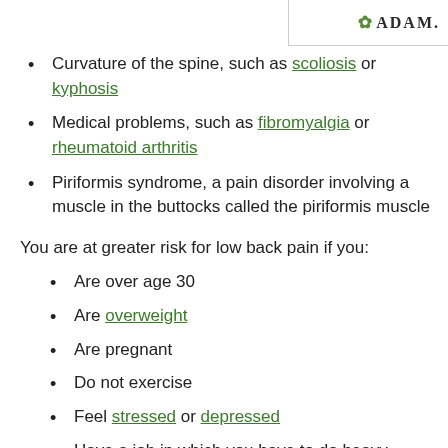[Figure (logo): A.D.A.M. logo with leaf icon in top right corner]
Curvature of the spine, such as scoliosis or kyphosis
Medical problems, such as fibromyalgia or rheumatoid arthritis
Piriformis syndrome, a pain disorder involving a muscle in the buttocks called the piriformis muscle
You are at greater risk for low back pain if you:
Are over age 30
Are overweight
Are pregnant
Do not exercise
Feel stressed or depressed
Have a job in which you have to do heavy lifting,